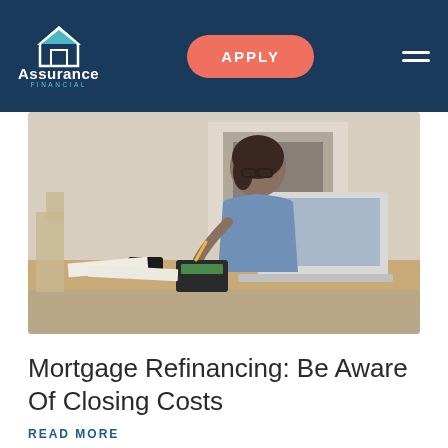Assurance Financial | APPLY
[Figure (photo): Woman with glasses sitting at a table, using a laptop and calculator, with papers spread out. Taken in a home setting with a fireplace in the background.]
Mortgage Refinancing: Be Aware Of Closing Costs
READ MORE